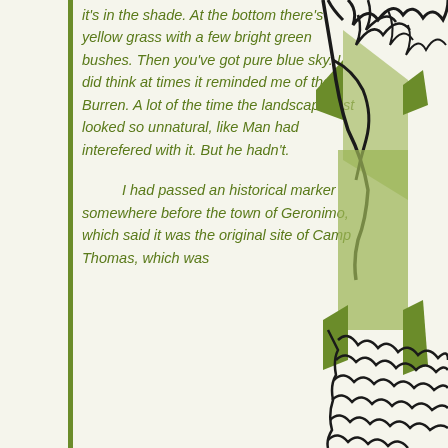it's in the shade. At the bottom there's yellow grass with a few bright green bushes. Then you've got pure blue sky. I did think at times it reminded me of the Burren. A lot of the time the landscape just looked so unnatural, like Man had interefered with it. But he hadn't.
I had passed an historical marker somewhere before the town of Geronimo, which said it was the original site of Camp Thomas, which was
[Figure (illustration): A stylized black ink line drawing of a figure, partially visible, with green geometric shapes (triangular and rectangular blocks) on the right side of the page. The illustration is decorative and abstract.]